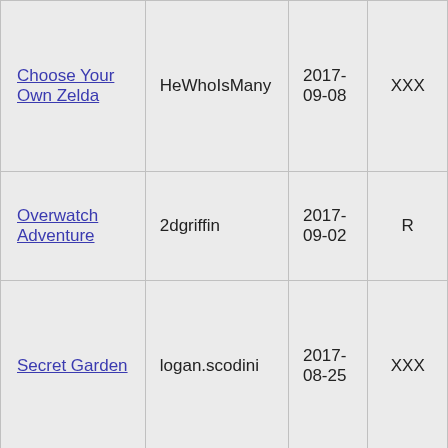| Choose Your Own Zelda | HeWhoIsMany | 2017-09-08 | XXX |
| Overwatch Adventure | 2dgriffin | 2017-09-02 | R |
| Secret Garden | logan.scodini | 2017-08-25 | XXX |
|  |  |  |  |